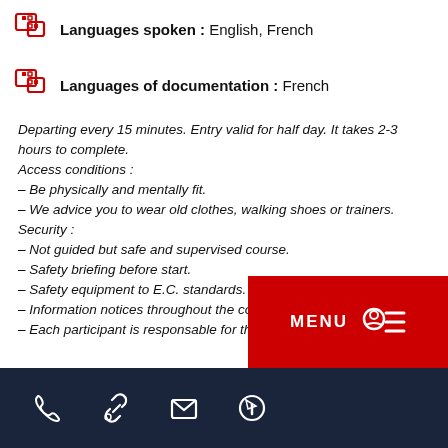Languages spoken : English, French
Languages of documentation : French
Departing every 15 minutes. Entry valid for half day. It takes 2-3 hours to complete.
Access conditions :
- Be physically and mentally fit.
- We advice you to wear old clothes, walking shoes or trainers.
Security :
- Not guided but safe and supervised course.
- Safety briefing before start.
- Safety equipment to E.C. standards.
- Information notices throughout the course.
- Each participant is responsable for the equipment.
[Figure (other): Red MENU button with search/hamburger icon overlay in bottom right]
Footer with phone, link, email, and info icons on dark navy background